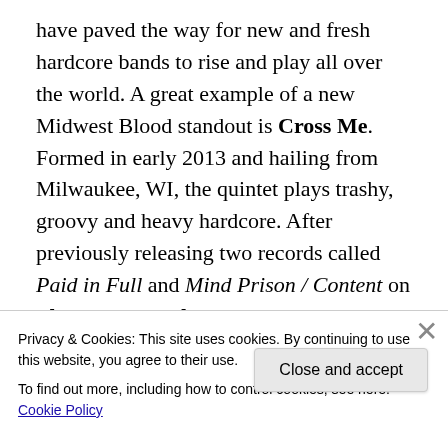have paved the way for new and fresh hardcore bands to rise and play all over the world. A great example of a new Midwest Blood standout is Cross Me. Formed in early 2013 and hailing from Milwaukee, WI, the quintet plays trashy, groovy and heavy hardcore. After previously releasing two records called Paid in Full and Mind Prison / Content on Flatspot Records, the band has switched record labels to release their new EP Forever Cursed on Bridge Nine. Legends Arising had the pleasure of streaming the EP in its entirety and Forever Cursed doesn't let down.
Privacy & Cookies: This site uses cookies. By continuing to use this website, you agree to their use.
To find out more, including how to control cookies, see here: Cookie Policy